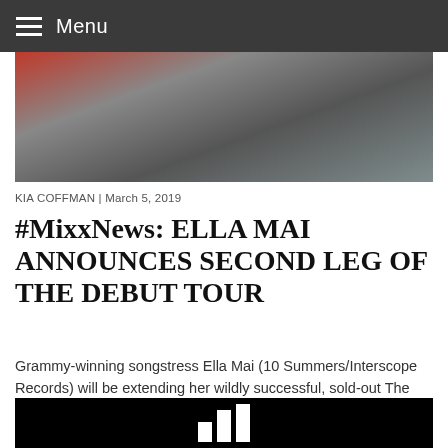Menu
[Figure (photo): Photo of a person wearing a red plaid shirt and white t-shirt, sitting with jeans, tattoos visible on hand/arm, against a grey background]
KIA COFFMAN | March 5, 2019
#MixxNews: ELLA MAI ANNOUNCES SECOND LEG OF THE DEBUT TOUR
Grammy-winning songstress Ella Mai (10 Summers/Interscope Records) will be extending her wildly successful, sold-out The Debut Tour. The tour...
[Figure (logo): Black background with three white vertical bars of increasing height (bar chart / logo icon)]